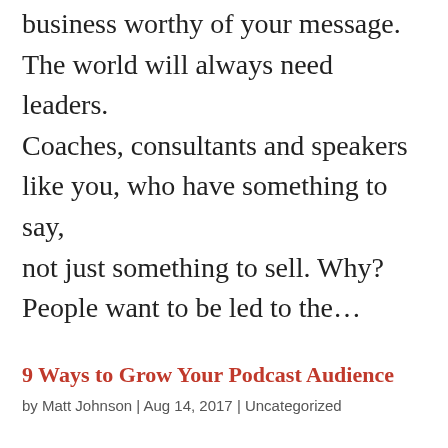business worthy of your message. The world will always need leaders. Coaches, consultants and speakers like you, who have something to say, not just something to sell. Why? People want to be led to the…
9 Ways to Grow Your Podcast Audience
by Matt Johnson | Aug 14, 2017 | Uncategorized
There are unlimited options to grow your audience, especially when it comes to social media. Here are the 9 highest-impact strategies to grow your podcast audience based on my…